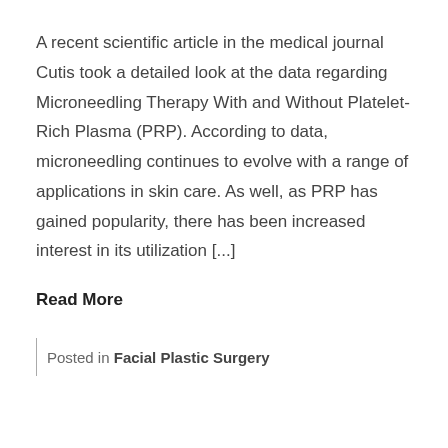A recent scientific article in the medical journal Cutis took a detailed look at the data regarding Microneedling Therapy With and Without Platelet-Rich Plasma (PRP). According to data, microneedling continues to evolve with a range of applications in skin care. As well, as PRP has gained popularity, there has been increased interest in its utilization [...]
Read More
Posted in Facial Plastic Surgery